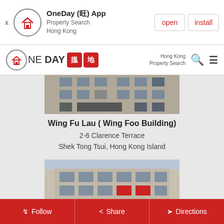[Figure (screenshot): OneDay app banner with logo, app name 'OneDay (旺) App', subtitle 'Property Search Hong Kong', and open/install buttons]
[Figure (logo): OneDay property search website navigation bar with logo 'ONE DAY 搵地', search text 'Hong Kong Property Search', search icon, and hamburger menu]
[Figure (photo): Partial photo of Wing Fu Lau building exterior]
Wing Fu Lau ( Wing Foo Building)
2-6 Clarence Terrace
Shek Tong Tsui, Hong Kong Island
[Figure (photo): Photo of Wing Hing House building exterior, a multi-storey residential building]
Wing Hing House
476-482 Queens Road West
Follow   Share   Directions